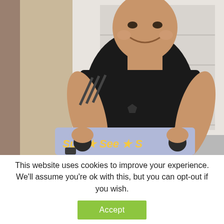[Figure (photo): A smiling man wearing a black Adidas athletic shirt, leaning over and gripping handles of what appears to be luggage or a stroller with colorful fabric. Background shows a white wall or garage door.]
This website uses cookies to improve your experience. We'll assume you're ok with this, but you can opt-out if you wish.
Accept